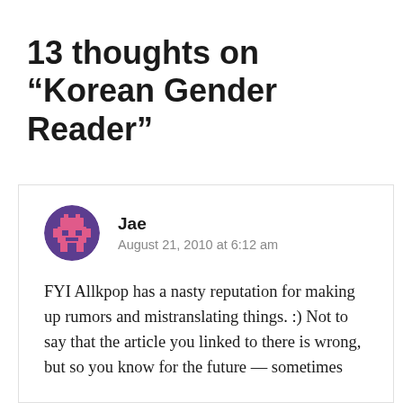13 thoughts on “Korean Gender Reader”
Jae
August 21, 2010 at 6:12 am
FYI Allkpop has a nasty reputation for making up rumors and mistranslating things. :) Not to say that the article you linked to there is wrong, but so you know for the future — sometimes